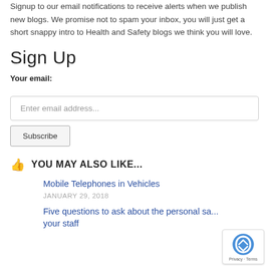Signup to our email notifications to receive alerts when we publish new blogs. We promise not to spam your inbox, you will just get a short snappy intro to Health and Safety blogs we think you will love.
Sign Up
Your email:
Enter email address...
Subscribe
YOU MAY ALSO LIKE...
Mobile Telephones in Vehicles
JANUARY 29, 2018
Five questions to ask about the personal sa... your staff